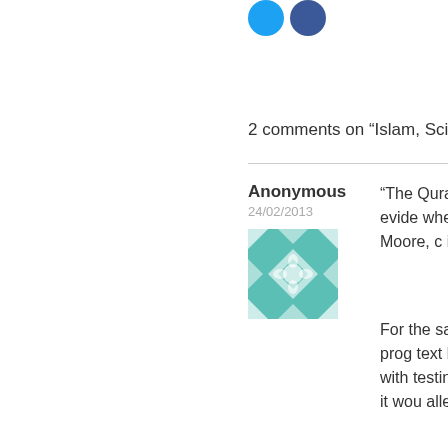[Figure (other): Two social media icon circles (Twitter blue and Facebook blue)]
2 comments on “Islam, Science and Evolu
Anonymous
24/02/2013
[Figure (illustration): Geometric teal/white decorative avatar tile pattern]
“The Quran sta scientific evide whether stage Keith Moore, c inform us the S
For the sake o scientific prog text because i to agree with testing? It see science it wou allegorically. Is